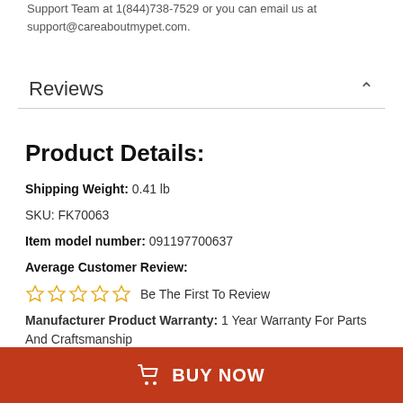Support Team at 1(844)738-7529 or you can email us at support@careaboutmypet.com.
Reviews
Product Details:
Shipping Weight: 0.41 lb
SKU: FK70063
Item model number: 091197700637
Average Customer Review:
Be The First To Review
Manufacturer Product Warranty: 1 Year Warranty For Parts And Craftsmanship
BUY NOW